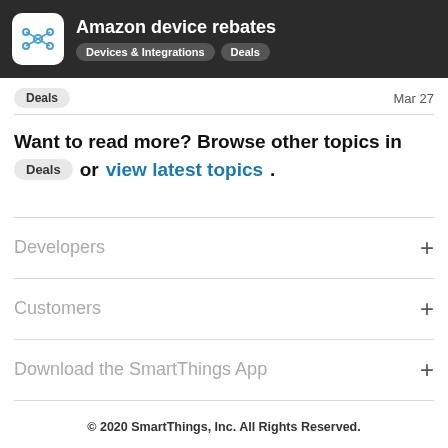Amazon device rebates — Devices & Integrations | Deals
Deals   Mar 27
Want to read more? Browse other topics in Deals or view latest topics.
Developers +
Customers +
Download the SmartThings App +
© 2020 SmartThings, Inc. All Rights Reserved.